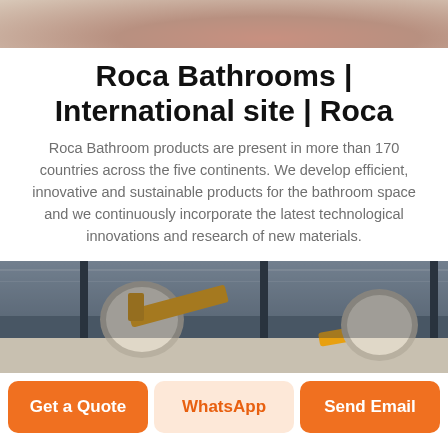[Figure (photo): Top portion of a product/bathroom item image, partially cropped]
Roca Bathrooms | International site | Roca
Roca Bathroom products are present in more than 170 countries across the five continents. We develop efficient, innovative and sustainable products for the bathroom space and we continuously incorporate the latest technological innovations and research of new materials.
[Figure (photo): Interior of a factory or industrial facility with yellow machinery and large spools on the floor]
Get a Quote
WhatsApp
Send Email